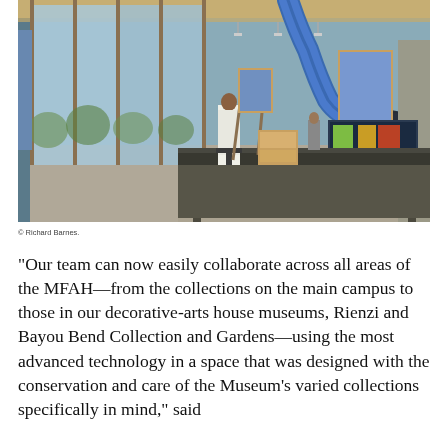[Figure (photo): Interior of a museum conservation studio with large floor-to-ceiling windows on the left flooding the space with natural light. A conservator in a white lab coat sits at a wooden easel working on a painting. Several paintings are displayed on easels in the background. A large dark worktable occupies the foreground. Blue HVAC ductwork runs along the upper right of the space. Wooden ceiling beams and modern track lighting are visible overhead.]
© Richard Barnes.
“Our team can now easily collaborate across all areas of the MFAH—from the collections on the main campus to those in our decorative-arts house museums, Rienzi and Bayou Bend Collection and Gardens—using the most advanced technology in a space that was designed with the conservation and care of the Museum’s varied collections specifically in mind,” said